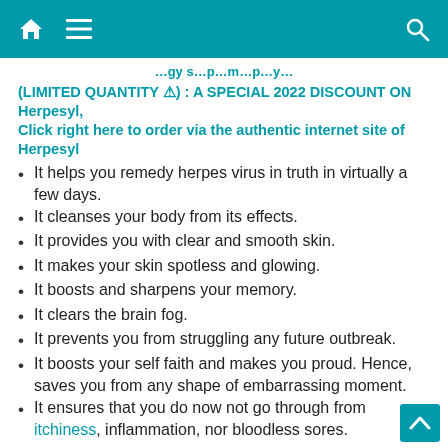Navigation bar with home, menu, and search icons
...gy s...p...m...p...y...
(LIMITED QUANTITY ⚠) : A SPECIAL 2022 DISCOUNT ON Herpesyl, Click right here to order via the authentic internet site of Herpesyl
It helps you remedy herpes virus in truth in virtually a few days.
It cleanses your body from its effects.
It provides you with clear and smooth skin.
It makes your skin spotless and glowing.
It boosts and sharpens your memory.
It clears the brain fog.
It prevents you from struggling any future outbreak.
It boosts your self faith and makes you proud. Hence, saves you from any shape of embarrassing moment.
It ensures that you do now not go through from itchiness, inflammation, nor bloodless sores.